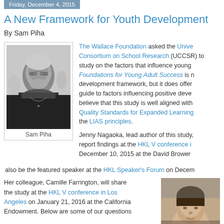Friday, December 4, 2015
A New Framework for Youth Development
By Sam Piha
[Figure (photo): Black and white photo of Sam Piha, an older man with glasses and a beard wearing a dark shirt with a necklace, with people in the background]
Sam Piha
The Wallace Foundation asked the University Consortium on School Research (UCCSR) to conduct a study on the factors that influence young people. Foundations for Young Adult Success is not a youth development framework, but it does offer a comprehensive guide to factors influencing positive development. We believe that this study is well aligned with the Quality Standards for Expanded Learning in California and the LIAS principles.
Jenny Nagaoka, lead author of this study, will present report findings at the HKL V conference in Los Angeles on December 10, 2015 at the David Brower Center. She will also be the featured speaker at the HKL Speaker's Forum on December...
Her colleague, Camille Farrington, will share the study at the HKL V conference in Los Angeles on January 21, 2016 at the California Endowment. Below are some of our questions
[Figure (photo): Partial photo of a woman (Jenny Nagaoka), showing her face from the chin up against a blurred background]